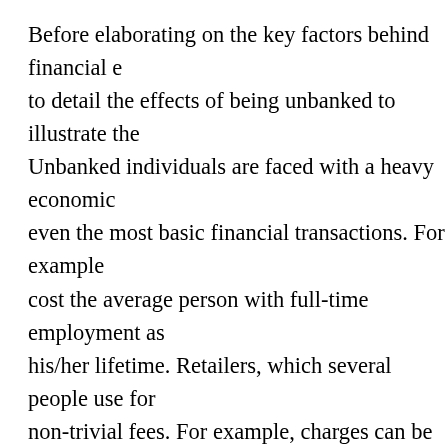Before elaborating on the key factors behind financial e to detail the effects of being unbanked to illustrate the Unbanked individuals are faced with a heavy economic even the most basic financial transactions. For example cost the average person with full-time employment as his/her lifetime. Retailers, which several people use for non-trivial fees. For example, charges can be as high as check. Other alternative financial services providers em extortionary fee structures. Western Union, as an exam USD$42 to send a USD$500 remittance to Barbados. 'U financial service providers levy as much as USD$10 on transferred. All in all, fees for conducting basic transact costs. And given that the majority of unbanked househ medium-income families, this significantly reduces the consumption.